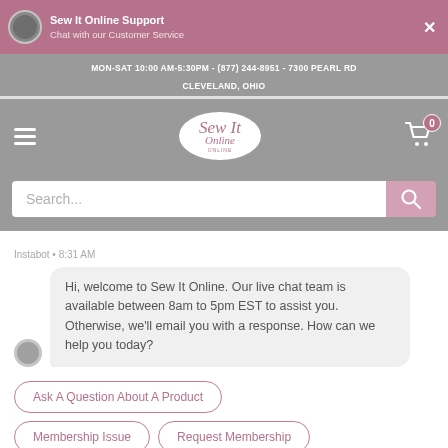Sew It Online Support - Chat with our Customer Service
MON-SAT 10:00 AM-5:30PM - (877) 244-8951 - 7300 PEARL RD CLEVELAND, OHIO
[Figure (screenshot): Sew It Online website navigation bar with hamburger menu, oval logo, and shopping cart with 0 items badge]
Search...
Instabot • 8:31 AM
Hi, welcome to Sew It Online. Our live chat team is available between 8am to 5pm EST to assist you. Otherwise, we'll email you with a response. How can we help you today?
Ask A Question About A Product
Membership Issue
Request Membership